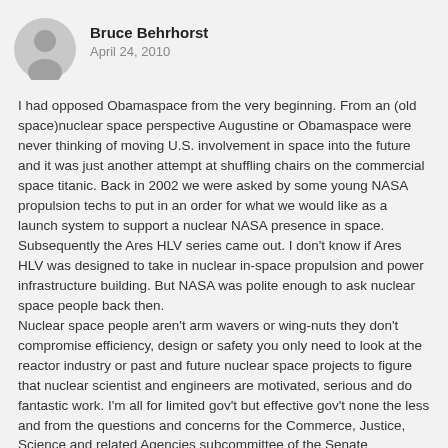[Figure (illustration): Circular grey avatar/profile picture placeholder with a generic person silhouette icon]
Bruce Behrhorst
April 24, 2010
I had opposed Obamaspace from the very beginning. From an (old space)nuclear space perspective Augustine or Obamaspace were never thinking of moving U.S. involvement in space into the future and it was just another attempt at shuffling chairs on the commercial space titanic. Back in 2002 we were asked by some young NASA propulsion techs to put in an order for what we would like as a launch system to support a nuclear NASA presence in space. Subsequently the Ares HLV series came out. I don't know if Ares HLV was designed to take in nuclear in-space propulsion and power infrastructure building. But NASA was polite enough to ask nuclear space people back then. Nuclear space people aren't arm wavers or wing-nuts they don't compromise efficiency, design or safety you only need to look at the reactor industry or past and future nuclear space projects to figure that nuclear scientist and engineers are motivated, serious and do fantastic work. I'm all for limited gov't but effective gov't none the less and from the questions and concerns for the Commerce, Justice, Science and related Agencies subcommittee of the Senate Appropriations Committee it seems I'm not the only one throwing up a red card over obamaspace plan.